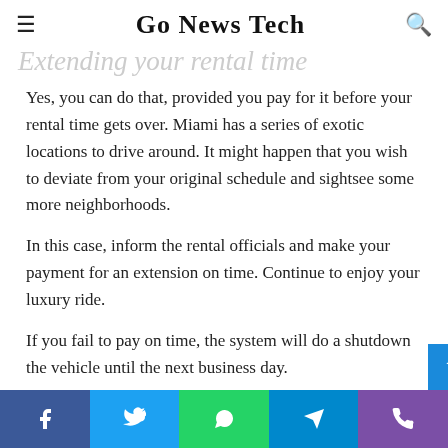Go News Tech
Extending your rental time
Yes, you can do that, provided you pay for it before your rental time gets over. Miami has a series of exotic locations to drive around. It might happen that you wish to deviate from your original schedule and sightsee some more neighborhoods.
In this case, inform the rental officials and make your payment for an extension on time. Continue to enjoy your luxury ride.
If you fail to pay on time, the system will do a shutdown the vehicle until the next business day.
Social share bar: Facebook, Twitter, WhatsApp, Telegram, Phone